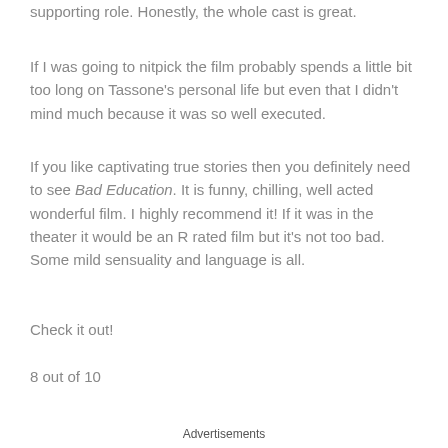supporting role. Honestly, the whole cast is great.
If I was going to nitpick the film probably spends a little bit too long on Tassone's personal life but even that I didn't mind much because it was so well executed.
If you like captivating true stories then you definitely need to see Bad Education. It is funny, chilling, well acted wonderful film. I highly recommend it! If it was in the theater it would be an R rated film but it's not too bad. Some mild sensuality and language is all.
Check it out!
8 out of 10
Advertisements